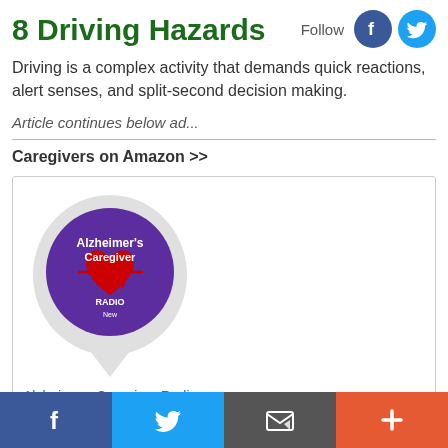8 Driving Hazards
Driving is a complex activity that demands quick reactions, alert senses, and split-second decision making.
Article continues below ad...
Caregivers on Amazon >>
[Figure (other): Alzheimer's Caregiver Radio product image — a circular badge with purple background, red heart and EKG line graphic, text 'Alzheimer's Caregiver RADIO' in white, on a teardrop/speech-bubble shaped white background.]
Alzheimers Caregiver Radio
$0.00
Alzheimer&#39;s Caregiver
f  [Twitter bird]  [Email/envelope]  +